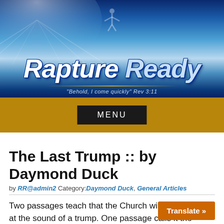[Figure (illustration): Rapture Ready website banner with blue sky, light rays, silhouette of figure with arms outstretched, and 'Rapture Ready' logo text with tagline 'Behold, I come quickly' Rev 3:11]
MENU
The Last Trump :: by Daymond Duck
by RR@admin2 Category: Daymond Duck, General Articles
Two passages teach that the Church will be removed at the sound of a trump. One passage calls it the “trump of God.” And the other passage calls it “the last trump.” The two passages are as follows: